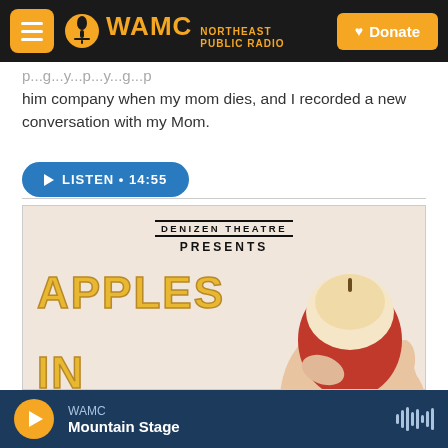WAMC Northeast Public Radio | Donate
him company when my mom dies, and I recorded a new conversation with my Mom.
LISTEN • 14:55
[Figure (photo): Denizen Theatre Presents: APPLES IN WINTER — promotional poster showing a hand holding a peeled apple with a dripping strand, text in bold yellow letters on a light peach background]
WAMC Mountain Stage